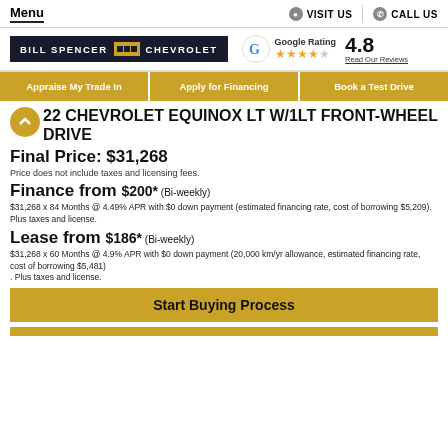Menu | VISIT US | CALL US
[Figure (logo): Bill Spencer Chevrolet dealer logo and Google Rating 4.8 stars]
Appraise My Trade In
Apply for Financing
Book a Test Drive
2022 CHEVROLET EQUINOX LT W/1LT FRONT-WHEEL DRIVE
Final Price: $31,268
Price does not include taxes and licensing fees.
Finance from $200* (Bi-weekly)
$31,268 x 84 Months @ 4.49% APR with $0 down payment (estimated financing rate, cost of borrowing $5,209). Plus taxes and license.
Lease from $186* (Bi-weekly)
$31,268 x 60 Months @ 4.9% APR with $0 down payment (20,000 km/yr allowance, estimated financing rate, cost of borrowing $5,481)
. Plus taxes and license.
Start Buying Process